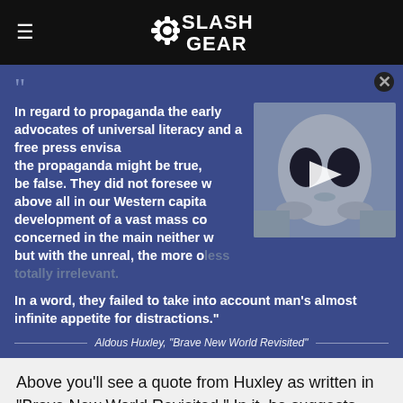SlashGear
In regard to propaganda the early advocates of universal literacy and a free press envisaged that the propaganda might be true, or would be false. They did not foresee what, above all in our Western capitals, the development of a vast mass concerned in the main neither with the unreal, the more or less totally irrelevant. In a word, they failed to take into account man's almost infinite appetite for distractions." Aldous Huxley, "Brave New World Revisited"
Above you'll see a quote from Huxley as written in "Brave New World Revisited." In it, he suggests that our dystopia is made by an overabundance of distractions.
[Figure (illustration): BitLife advertisement banner with fire and cartoon character, START A NEW LIFE text]
The